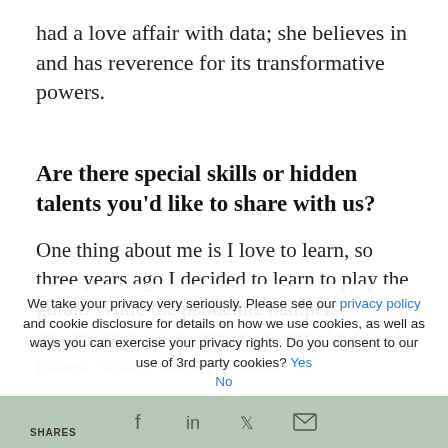had a love affair with data; she believes in and has reverence for its transformative powers.
Are there special skills or hidden talents you'd like to share with us?
One thing about me is I love to learn, so three years ago I decided to learn to play the guitar. While the pandemic hampers my ability to take lessons, in 2020 I joined Acuity weekly lessons.
We take your privacy very seriously. Please see our privacy policy and cookie disclosure for details on how we use cookies, as well as ways you can exercise your privacy rights. Do you consent to our use of 3rd party cookies? Yes No
SHARES